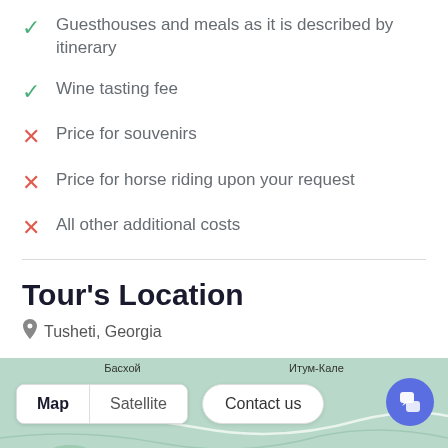✓ Guesthouses and meals as it is described by itinerary
✓ Wine tasting fee
✗ Price for souvenirs
✗ Price for horse riding upon your request
✗ All other additional costs
Tour's Location
Tusheti, Georgia
[Figure (map): Map showing Tusheti, Georgia area with Map/Satellite toggle and Contact us button]